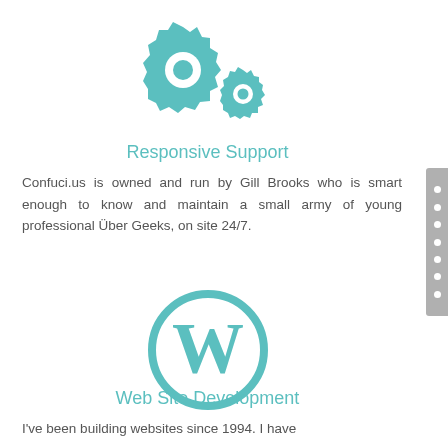[Figure (illustration): Two teal/turquoise gear icons, one large and one small, representing settings or support]
Responsive Support
Confuci.us is owned and run by Gill Brooks who is smart enough to know and maintain a small army of young professional Über Geeks, on site 24/7.
[Figure (logo): WordPress logo - teal/turquoise circle with stylized W letter inside]
Web Site Development
I've been building websites since 1994. I have